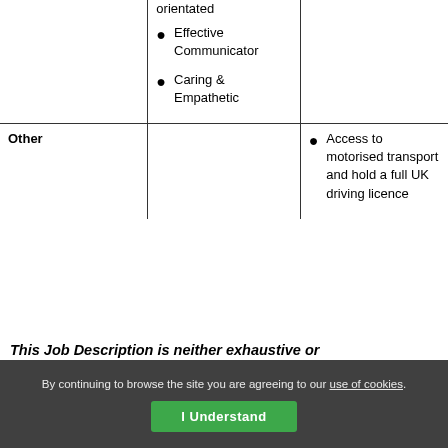|  | • orientated
• Effective Communicator
• Caring & Empathetic |  |
| Other |  | • Access to motorised transport and hold a full UK driving licence |
This Job Description is neither exhaustive or
By continuing to browse the site you are agreeing to our use of cookies.